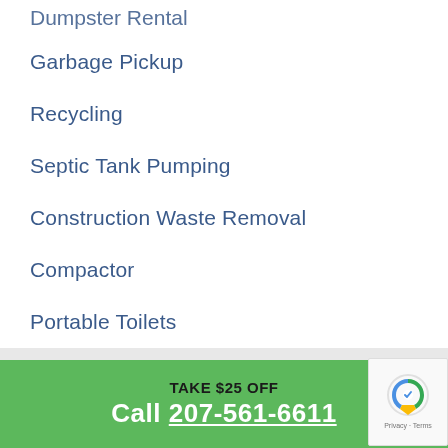Dumpster Rental
Garbage Pickup
Recycling
Septic Tank Pumping
Construction Waste Removal
Compactor
Portable Toilets
Landfill
TAKE $25 OFF
Call 207-561-6611